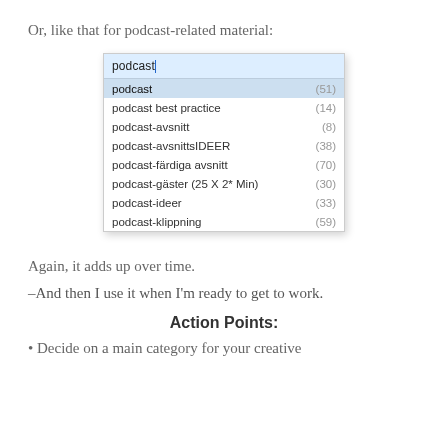Or, like that for podcast-related material:
[Figure (screenshot): Autocomplete dropdown widget showing search results for 'podcast' with items: podcast (51), podcast best practice (14), podcast-avsnitt (8), podcast-avsnittsIDEER (38), podcast-färdiga avsnitt (70), podcast-gäster (25 X 2* Min) (30), podcast-ideer (33), podcast-klippning (59)]
Again, it adds up over time.
–And then I use it when I'm ready to get to work.
Action Points:
Decide on a main category for your creative